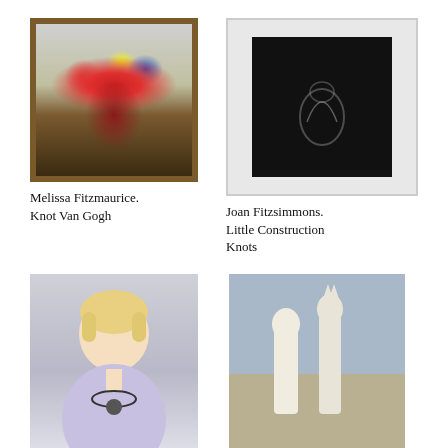[Figure (photo): Framed painting of colorful flowers in a vase, with a dark ornate frame]
Melissa Fitzmaurice. Knot Van Gogh
[Figure (photo): White-framed artwork showing a dark background with a faint white sculptural knot form]
Joan Fitzsimmons. Little Construction Knots
[Figure (photo): Bust sculpture of a doll-like figure with blonde hair wearing a lavender top and a necklace]
Ann Fortunato. Chinese Knot Necklace
[Figure (photo): Two slender white figurative sculptures standing on a display surface in a gallery setting]
Julie Frankel. 2 Figures
[Figure (photo): Light blue knitted or crocheted bag or garment with teal accents hanging on display]
[Figure (photo): Framed painting of a pink flamingo with a dark frame against a scenic background]